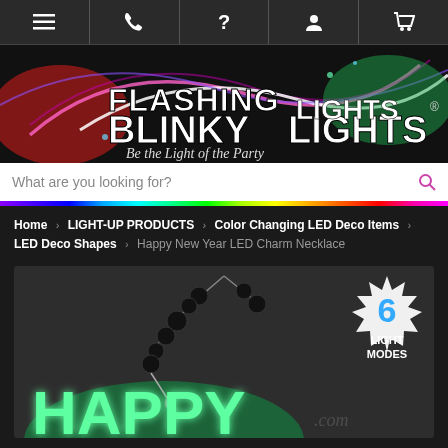[Figure (screenshot): Top navigation bar with menu, phone, help, account, and cart icons]
[Figure (logo): Flashing Blinky Lights logo with colorful light wave effects and tagline 'Be the Light of the Party']
What are you looking for?
Home > LIGHT-UP PRODUCTS > Color Changing LED Deco Items > LED Deco Shapes > Happy New Year LED Charm Necklace
[Figure (photo): Happy New Year LED Charm Necklace product photo with black beaded necklace, glowing green HAPPY text, and '6 Light Modes' badge]